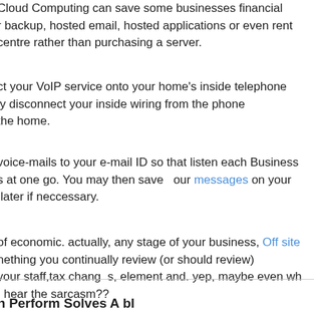Cloud Computing can save some businesses financial r backup, hosted email, hosted applications or even rent centre rather than purchasing a server.
ct your VoIP service onto your home's inside telephone ly disconnect your inside wiring from the phone the home.
voice-mails to your e-mail ID so that listen each Business s at one go. You may then save our messages on your later if neccessary.
of economic. actually, any stage of your business, Off site nething you continually review (or should review) your staff,tax changes, element and. yep, maybe even wh . hear the sarcasm??
h Perform Solves A bl